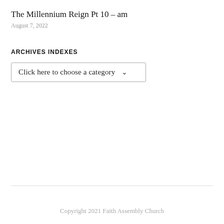The Millennium Reign Pt 10 – am
August 7, 2022
ARCHIVES INDEXES
[Figure (screenshot): Dropdown select box with placeholder text 'Click here to choose a category' and a dropdown arrow]
Copyright 2021 Faith Assembly Church